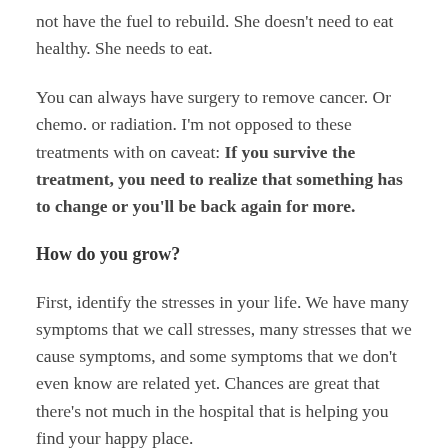not have the fuel to rebuild. She doesn't need to eat healthy. She needs to eat.
You can always have surgery to remove cancer. Or chemo. or radiation. I'm not opposed to these treatments with on caveat: If you survive the treatment, you need to realize that something has to change or you'll be back again for more.
How do you grow?
First, identify the stresses in your life. We have many symptoms that we call stresses, many stresses that we cause symptoms, and some symptoms that we don't even know are related yet. Chances are great that there's not much in the hospital that is helping you find your happy place.